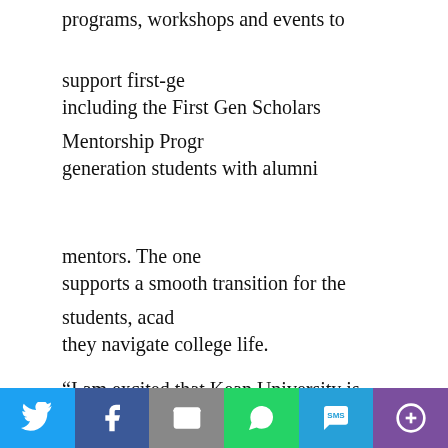programs, workshops and events to support first-generation students, including the First Gen Scholars Mentorship Program, which pairs first-generation students with alumni mentors. The one-on-one mentorship supports a smooth transition for the students, academically, as they navigate college life.
“I am excited that Kean University is being recognized as an institution that provides key high-impact services to assist first-generation students with climbing the mountain that is college,” said Barbara Harmon Francis, vice president of Student Success and Retention at Kean and a former first-generation college student. “Kean, we are their guide to climbing higher. We will be the support for students’ success.”
Elvis Gyan, managing assistant director of retention and himself a former first-generation student, oversees the mentorship program.
“This designation further demonstrates that Kean University is being intentional about cultivating a safe space for first-generation students to excel at the university,” he said. “From my own exp…
[Figure (other): Social sharing footer bar with Twitter, Facebook, Email, WhatsApp, SMS, and More buttons]